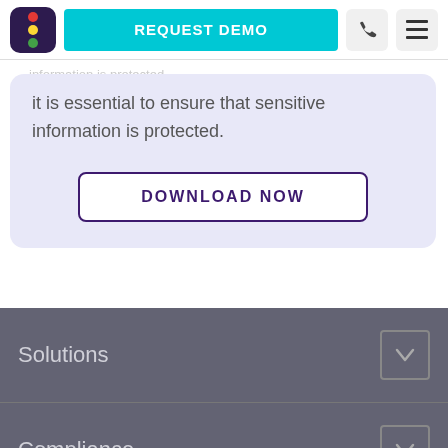[Figure (screenshot): Navigation bar with traffic-light logo icon, cyan REQUEST DEMO button, phone icon button, and hamburger menu icon button]
it is essential to ensure that sensitive information is protected.
DOWNLOAD NOW
Solutions
Compliance